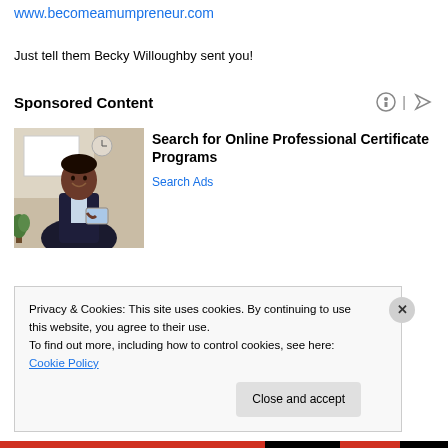www.becomeamumpreneur.com
Just tell them Becky Willoughby sent you!
Sponsored Content
[Figure (photo): Man in suit holding a tablet, standing in an office environment]
Search for Online Professional Certificate Programs
Search Ads
Privacy & Cookies: This site uses cookies. By continuing to use this website, you agree to their use.
To find out more, including how to control cookies, see here: Cookie Policy
Close and accept